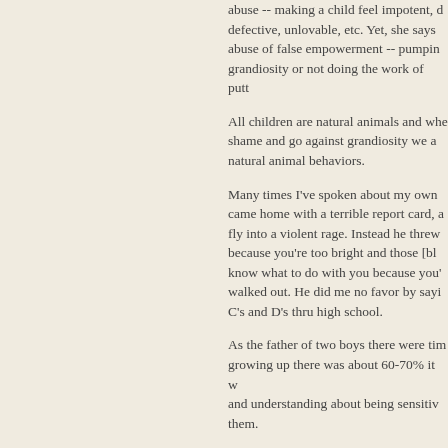abuse -- making a child feel impotent, defective, unlovable, etc. Yet, she says abuse of false empowerment -- pumpin grandiosity or not doing the work of putt
All children are natural animals and whe shame and go against grandiosity we a natural animal behaviors.
Many times I've spoken about my own came home with a terrible report card, a fly into a violent rage. Instead he threw because you're too bright and those [bl know what to do with you because you' walked out. He did me no favor by sayi C's and D's thru high school.
As the father of two boys there were ti growing up there was about 60-70% it w and understanding about being sensiti them.
The other day I was shopping, and ther amok always on the verge of destroying keeping all of us distracted, and he alm a row; his parent completely ignoring th point he touched something that I had p and I said to him very sternly, "Don't tou his parent to attention, and the kid was Another parent might have even challe disciplining the child, to which I would h